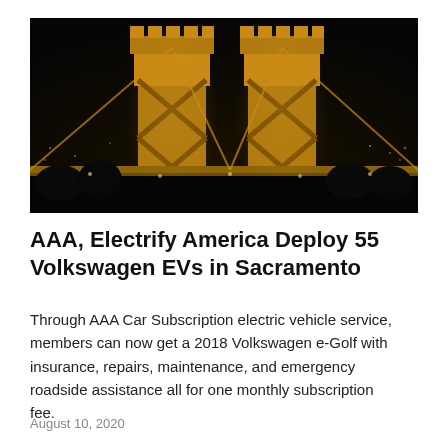[Figure (photo): Night photograph of the Sacramento Tower Bridge illuminated in golden/amber light against a dark sky, with city lights visible in the background]
AAA, Electrify America Deploy 55 Volkswagen EVs in Sacramento
Through AAA Car Subscription electric vehicle service, members can now get a 2018 Volkswagen e-Golf with insurance, repairs, maintenance, and emergency roadside assistance all for one monthly subscription fee.
August 10, 2020